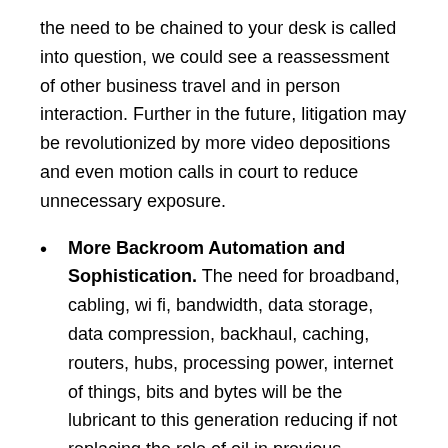the need to be chained to your desk is called into question, we could see a reassessment of other business travel and in person interaction. Further in the future, litigation may be revolutionized by more video depositions and even motion calls in court to reduce unnecessary exposure.
More Backroom Automation and Sophistication. The need for broadband, cabling, wi fi, bandwidth, data storage, data compression, backhaul, caching, routers, hubs, processing power, internet of things, bits and bytes will be the lubricant to this generation reducing if not replacing the role of oil in previous generations. Remote working will increase the risk of hacking and the heightened need for secured networks fortified against cyber theft and introductions of malware. Further, the adoption of more sophisticated applications of